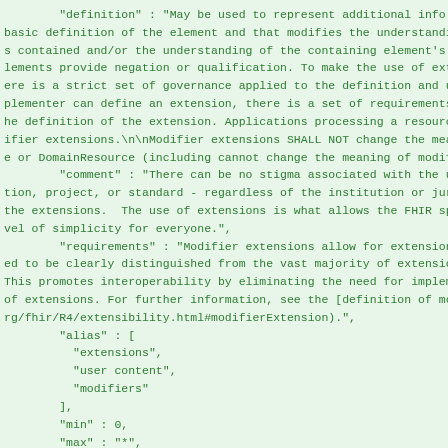"definition" : "May be used to represent additional info basic definition of the element and that modifies the understanding s contained and/or the understanding of the containing element's lements provide negation or qualification. To make the use of ext ere is a strict set of governance applied to the definition and u plementer can define an extension, there is a set of requirements he definition of the extension. Applications processing a resourc ifier extensions.\n\nModifier extensions SHALL NOT change the mea e or DomainResource (including cannot change the meaning of modif "comment" : "There can be no stigma associated with the u tion, project, or standard - regardless of the institution or jur the extensions.  The use of extensions is what allows the FHIR sp vel of simplicity for everyone.", "requirements" : "Modifier extensions allow for extension ed to be clearly distinguished from the vast majority of extension This promotes interoperability by eliminating the need for implem of extensions. For further information, see the [definition of mo rg/fhir/R4/extensibility.html#modifierExtension).", "alias" : [ "extensions", "user content", "modifiers" ], "min" : 0, "max" : "*", "base" : { "path" : "BackboneElement.modifierExtension", "min" : 0, "max" : "*"